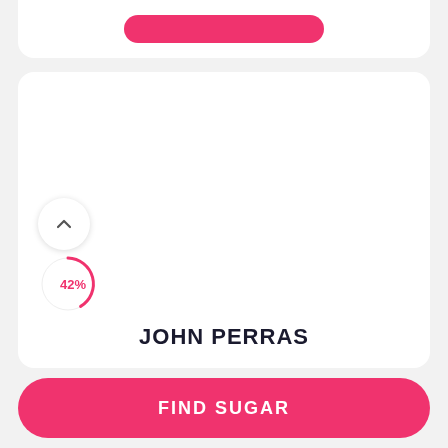[Figure (screenshot): Top portion of a white card with a pink rounded button partially visible at the top]
[Figure (screenshot): White card panel showing a profile photo area (blank white), an upward chevron circle button, a pink circular progress indicator showing 42%, and the name JOHN PERRAS at the bottom]
JOHN PERRAS
42%
FIND SUGAR